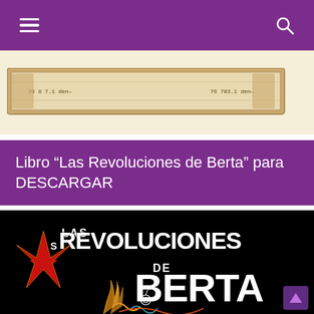≡  🔍
[Figure (photo): Partial view of a document or banknote image at the top of the page]
Libro “Las Revoluciones de Berta” para DESCARGAR
[Figure (illustration): Book cover for 'Las Revoluciones de Berta' — black background with bold white distressed text reading 'LAS REVOLUCIONES DE BERTA', a large red star outline on the left, and decorative swirls and a partial face at the bottom]